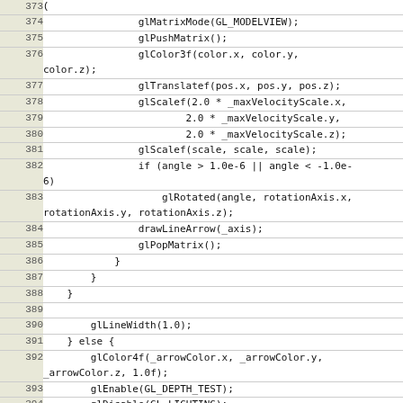| line | code |
| --- | --- |
| 373 | (partial top) |
| 374 |                 glMatrixMode(GL_MODELVIEW); |
| 375 |                 glPushMatrix(); |
| 376 |                 glColor3f(color.x, color.y,
        color.z); |
| 377 |                 glTranslatef(pos.x, pos.y, pos.z); |
| 378 |                 glScalef(2.0 * _maxVelocityScale.x, |
| 379 |                         2.0 * _maxVelocityScale.y, |
| 380 |                         2.0 * _maxVelocityScale.z); |
| 381 |                 glScalef(scale, scale, scale); |
| 382 |                 if (angle > 1.0e-6 || angle < -1.0e-
        6) |
| 383 |                     glRotated(angle, rotationAxis.x,
        rotationAxis.y, rotationAxis.z); |
| 384 |                 drawLineArrow(_axis); |
| 385 |                 glPopMatrix(); |
| 386 |             } |
| 387 |         } |
| 388 |     } |
| 389 |  |
| 390 |         glLineWidth(1.0); |
| 391 |     } else { |
| 392 |         glColor4f(_arrowColor.x, _arrowColor.y,
        _arrowColor.z, 1.0f); |
| 393 |         glEnable(GL_DEPTH_TEST); |
| 394 |         glDisable(GL_LIGHTING); |
| 395 | #if 0 |
| 396 |         glBlendFunc(GL_SRC_ALPHA, GL_ONE); |
| 397 |         glEnable(GL_BLEND); |
| 398 |         glDepthMask(GL_FALSE); |
| 399 | #else |
| 400 |         glDisable(GL_BLEND); |
| 401 | #endif |
| 402 |         glAlphaFunc(GL_GREATER, 0.5); |